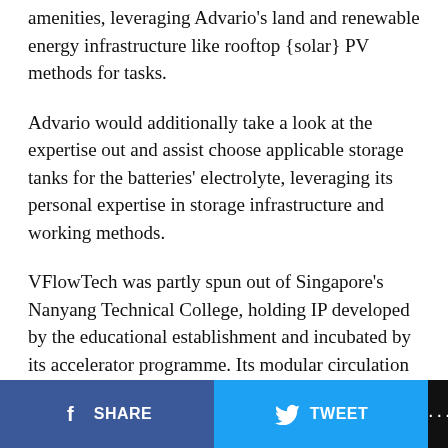amenities, leveraging Advario's land and renewable energy infrastructure like rooftop {solar} PV methods for tasks.
Advario would additionally take a look at the expertise out and assist choose applicable storage tanks for the batteries' electrolyte, leveraging its personal expertise in storage infrastructure and working methods.
VFlowTech was partly spun out of Singapore's Nanyang Technical College, holding IP developed by the educational establishment and incubated by its accelerator programme. Its modular circulation batteries are designed to be sturdy over a 25-year lifetime and supply cost-effective long-duration energy storage (LDES).
SHARE  TWEET  ...